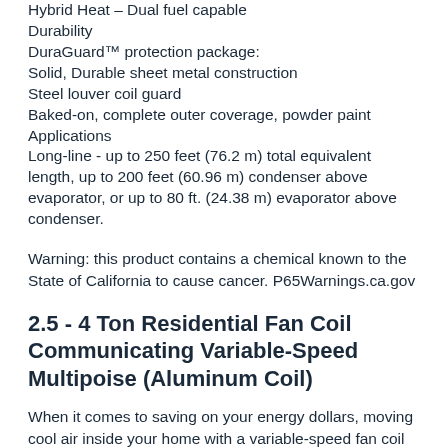Hybrid Heat – Dual fuel capable
Durability
DuraGuard™ protection package:
Solid, Durable sheet metal construction
Steel louver coil guard
Baked-on, complete outer coverage, powder paint
Applications
Long-line - up to 250 feet (76.2 m) total equivalent length, up to 200 feet (60.96 m) condenser above evaporator, or up to 80 ft. (24.38 m) evaporator above condenser.
Warning: this product contains a chemical known to the State of California to cause cancer. P65Warnings.ca.gov
2.5 - 4 Ton Residential Fan Coil Communicating Variable-Speed Multipoise (Aluminum Coil)
When it comes to saving on your energy dollars, moving cool air inside your home with a variable-speed fan coil can make a surprising difference...